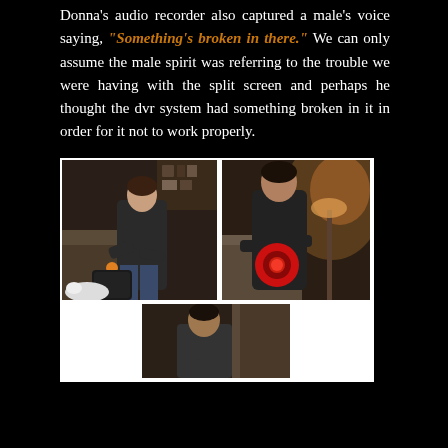Donna's audio recorder also captured a male's voice saying, "Something's broken in there." We can only assume the male spirit was referring to the trouble we were having with the split screen and perhaps he thought the dvr system had something broken in it in order for it not to work properly.
[Figure (photo): Three-panel photo collage: top-left shows a person bending over examining equipment, top-right shows a person holding a red object near a lamp, bottom-center shows a person looking down near a doorway.]